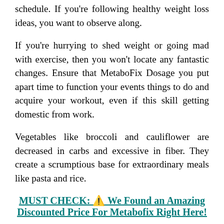schedule. If you're following healthy weight loss ideas, you want to observe along.
If you're hurrying to shed weight or going mad with exercise, then you won't locate any fantastic changes. Ensure that MetaboFix Dosage you put apart time to function your events things to do and acquire your workout, even if this skill getting domestic from work.
Vegetables like broccoli and cauliflower are decreased in carbs and excessive in fiber. They create a scrumptious base for extraordinary meals like pasta and rice.
MUST CHECK: ⚠️ We Found an Amazing Discounted Price For Metabofix Right Here!